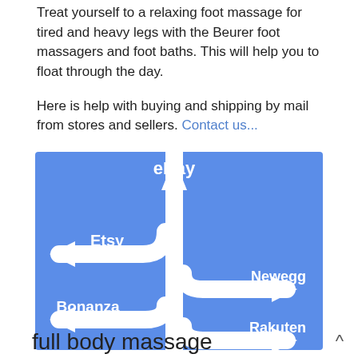Treat yourself to a relaxing foot massage for tired and heavy legs with the Beurer foot massagers and foot baths. This will help you to float through the day.
Here is help with buying and shipping by mail from stores and sellers. Contact us...
[Figure (infographic): Blue road-sign style infographic showing shopping marketplace directions: eBay (straight up arrow), Etsy (left arrow), Bonanza (left arrow), Newegg (right arrow), Rakuten (right arrow)]
full body massage